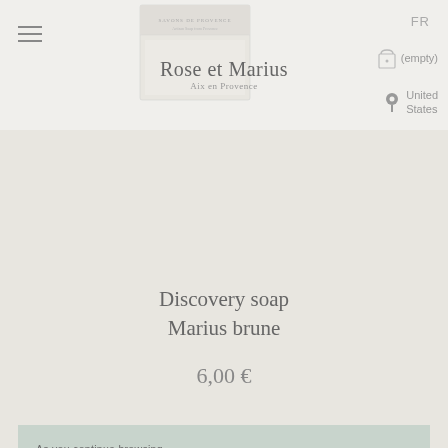[Figure (screenshot): Website header showing a Rose et Marius soap product box, hamburger menu icon, FR language selector, shopping bag icon with (empty) label, and United States location indicator]
Discovery soap
Marius brune
6,00 €
As you continue browsing, you agree to the use of cookies to help us measure and improve your browsing experience.
Cookie Policy    Accept